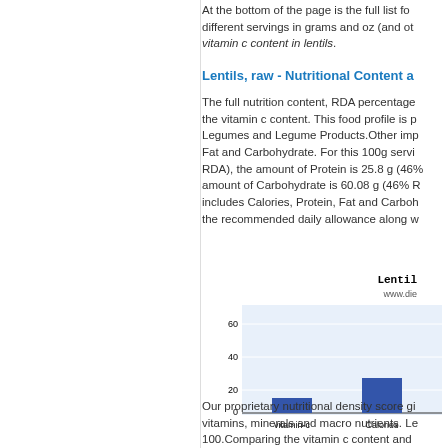At the bottom of the page is the full list for different servings in grams and oz (and other), vitamin c content in lentils.
Lentils, raw - Nutritional Content a
The full nutrition content, RDA percentage the vitamin c content. This food profile is p Legumes and Legume Products.Other imp Fat and Carbohydrate. For this 100g servi RDA), the amount of Protein is 25.8 g (46 amount of Carbohydrate is 60.08 g (46% R includes Calories, Protein, Fat and Carbo the recommended daily allowance along w
[Figure (bar-chart): Lentils]
Our proprietary nutritional density score gi vitamins, minerals and macro nutrients. Le 100.Comparing the vitamin c content and